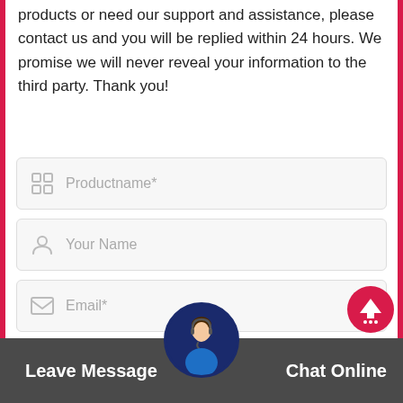products or need our support and assistance, please contact us and you will be replied within 24 hours. We promise we will never reveal your information to the third party. Thank you!
[Figure (screenshot): Contact form with fields: Productname*, Your Name, Email*, Your Phone or Whatsapp*]
[Figure (screenshot): Scroll-to-top circular button (red with upward arrow and dots)]
[Figure (screenshot): Bottom bar with Leave Message and Chat Online buttons and a customer service avatar]
Leave Message   Chat Online